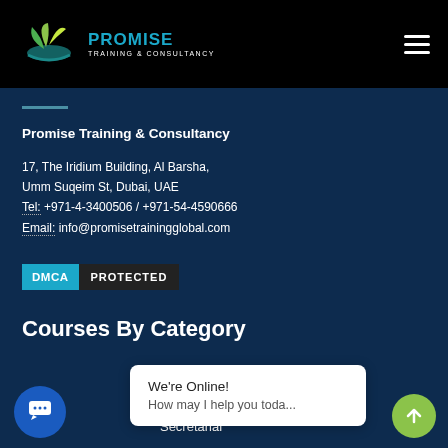[Figure (logo): Promise Training & Consultancy logo with green leaf/plant icon and teal text]
Promise Training & Consultancy
17, The Iridium Building, Al Barsha,
Umm Suqeim St, Dubai, UAE
Tel: +971-4-3400506 / +971-54-4590666
Email: info@promisetrainingglobal.com
[Figure (other): DMCA Protected badge]
Courses By Category
Admi... Secretarial
We're Online! How may I help you toda...